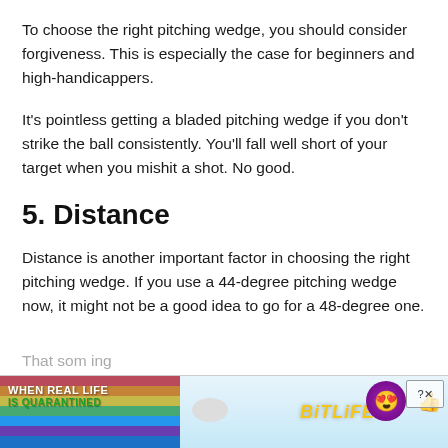To choose the right pitching wedge, you should consider forgiveness. This is especially the case for beginners and high-handicappers.
It’s pointless getting a bladed pitching wedge if you don’t strike the ball consistently. You’ll fall well short of your target when you mishit a shot. No good.
5. Distance
Distance is another important factor in choosing the right pitching wedge. If you use a 44-degree pitching wedge now, it might not be a good idea to go for a 48-degree one.
That… som… ing
[Figure (other): BitLife advertisement banner showing rainbow colors with text WHEN REAL LIFE IS QUARANTINED and BitLife logo with emoji character]